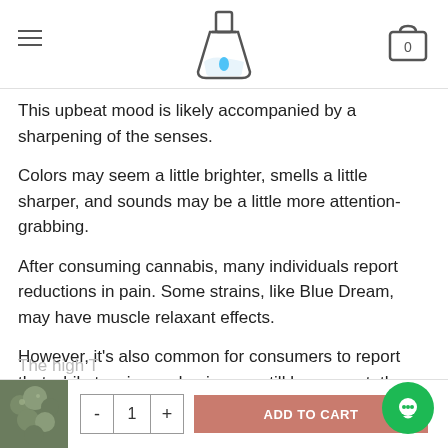Navigation bar with hamburger menu, flask logo, and cart icon (0)
shortly after trying this strain, consumers may notice a substantial mood elevation
This upbeat mood is likely accompanied by a sharpening of the senses.
Colors may seem a little brighter, smells a little sharper, and sounds may be a little more attention-grabbing.
After consuming cannabis, many individuals report reductions in pain. Some strains, like Blue Dream, may have muscle relaxant effects.
However, it's also common for consumers to report that while tension and pain may still be present, the sensations have dulled and it becomes easier to focus attention on things other than pain.
The high T...                    ...Blue Dream